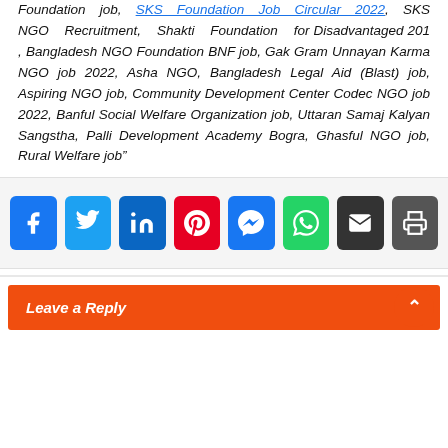Foundation job, SKS Foundation Job Circular 2022, SKS NGO Recruitment, Shakti Foundation for Disadvantaged 201 , Bangladesh NGO Foundation BNF job, Gak Gram Unnayan Karma NGO job 2022, Asha NGO, Bangladesh Legal Aid (Blast) job, Aspiring NGO job, Community Development Center Codec NGO job 2022, Banful Social Welfare Organization job, Uttaran Samaj Kalyan Sangstha, Palli Development Academy Bogra, Ghasful NGO job, Rural Welfare job”
[Figure (infographic): Social media share buttons: Facebook, Twitter, LinkedIn, Pinterest, Messenger, WhatsApp, Email, Print]
Leave a Reply